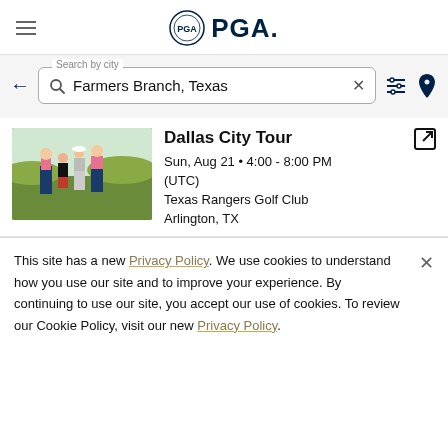PGA
Search by city — Farmers Branch, Texas
Dallas City Tour
Sun, Aug 21 • 4:00 - 8:00 PM (UTC)
Texas Rangers Golf Club
Arlington, TX
[Figure (photo): Four golfers posing together on a golf course green]
This site has a new Privacy Policy. We use cookies to understand how you use our site and to improve your experience. By continuing to use our site, you accept our use of cookies. To review our Cookie Policy, visit our new Privacy Policy.